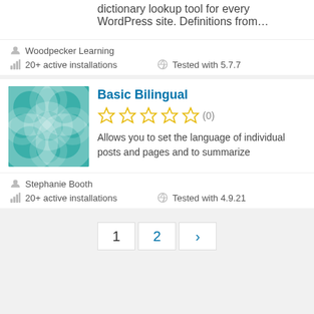dictionary lookup tool for every WordPress site. Definitions from…
Woodpecker Learning
20+ active installations
Tested with 5.7.7
[Figure (illustration): Teal/turquoise plugin icon with circular overlapping shapes]
Basic Bilingual
[Figure (other): 5 empty star rating icons]
(0)
Allows you to set the language of individual posts and pages and to summarize
Stephanie Booth
20+ active installations
Tested with 4.9.21
1  2  ›